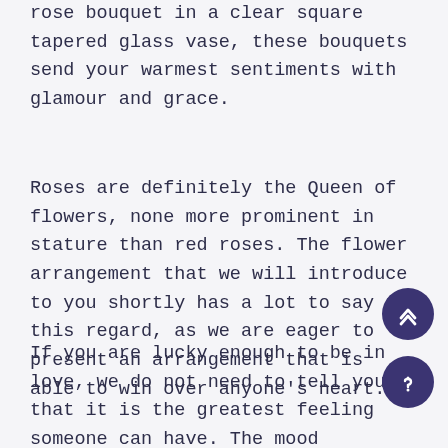rose bouquet in a clear square tapered glass vase, these bouquets send your warmest sentiments with glamour and grace.
Roses are definitely the Queen of flowers, none more prominent in stature than red roses. The flower arrangement that we will introduce to you shortly has a lot to say in this regard, as we are eager to present an arrangement that is able to win over anyone's heart.
If you are lucky enough to be in love, we do not need to tell you that it is the greatest feeling someone can have. The mood changes, happiness and good humour are always present, and anything seems possible. If this is your situation and you want to surprise that person with an incredible gift, we present to you this arrangement of 36 red roses so that the...